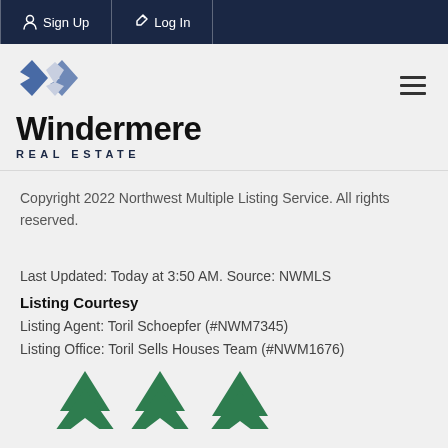Sign Up  Log In
[Figure (logo): Windermere Real Estate logo with diamond/arrow icon above the wordmark]
Copyright 2022 Northwest Multiple Listing Service. All rights reserved.
Last Updated: Today at 3:50 AM. Source: NWMLS
Listing Courtesy
Listing Agent: Toril Schoepfer (#NWM7345)
Listing Office: Toril Sells Houses Team (#NWM1676)
[Figure (logo): Green tree/arrow icons at the bottom of the page]